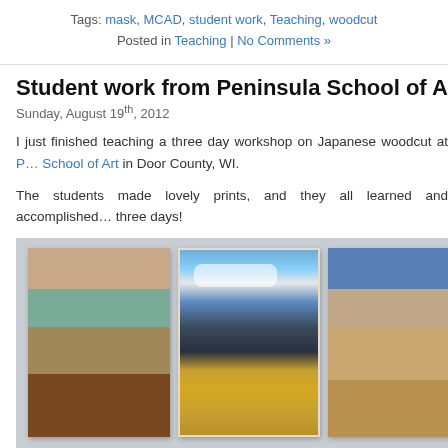Tags: mask, MCAD, student work, Teaching, woodcut
Posted in Teaching | No Comments »
Student work from Peninsula School of Art workshop
Sunday, August 19th, 2012
I just finished teaching a three day workshop on Japanese woodcut at Peninsula School of Art in Door County, WI.
The students made lovely prints, and they all learned and accomplished… three days!
[Figure (photo): Three Japanese woodcut prints by students showing landscape scenes with mountains, sky, and fields in earthy and blue tones.]